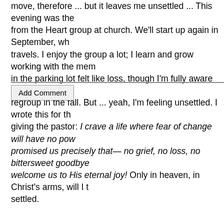move, therefore ... but it leaves me unsettled ... This evening was the last meeting from the Heart group at church. We'll start up again in September, wh... travels. I enjoy the group a lot; I learn and grow working with the mem... in the parking lot felt like loss, though I'm fully aware we'll stay in touc... regroup in the fall. But ... yeah, I'm feeling unsettled. I wrote this for th... giving the pastor: I crave a life where fear of change will have no pow... promised us precisely that— no grief, no loss, no bittersweet goodbye... welcome us to His eternal joy! Only in heaven, in Christ's arms, will I t... settled.